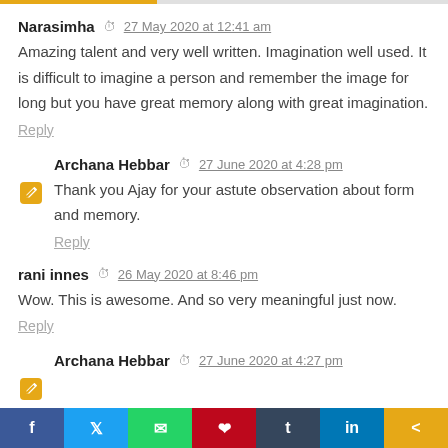Narasimha  27 May 2020 at 12:41 am
Amazing talent and very well written. Imagination well used. It is difficult to imagine a person and remember the image for long but you have great memory along with great imagination.
Reply
Archana Hebbar  27 June 2020 at 4:28 pm
Thank you Ajay for your astute observation about form and memory.
Reply
rani innes  26 May 2020 at 8:46 pm
Wow. This is awesome. And so very meaningful just now.
Reply
Archana Hebbar  27 June 2020 at 4:27 pm